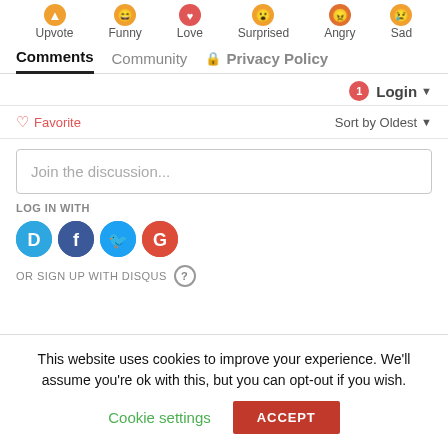[Figure (infographic): Reaction emoji row with labels: Upvote, Funny, Love, Surprised, Angry, Sad]
Comments  Community  Privacy Policy
1  Login
♡ Favorite    Sort by Oldest
Join the discussion...
LOG IN WITH
[Figure (infographic): Social login icons: Disqus (D), Facebook (f), Twitter bird, Google (G)]
OR SIGN UP WITH DISQUS ?
This website uses cookies to improve your experience. We'll assume you're ok with this, but you can opt-out if you wish.
Cookie settings   ACCEPT